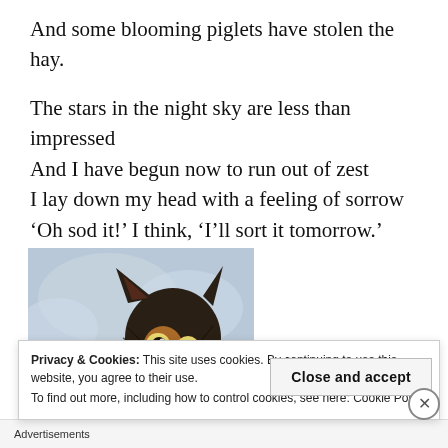And some blooming piglets have stolen the hay.

The stars in the night sky are less than impressed
And I have begun now to run out of zest
I lay down my head with a feeling of sorrow
‘Oh sod it!’ I think, ‘I’ll sort it tomorrow.’
[Figure (illustration): Watercolour illustration of a worried-looking cat or dog with wide eyes, dark fur, peeking over a green hedge or bush, with a blue-grey cloudy sky background.]
Privacy & Cookies: This site uses cookies. By continuing to use this website, you agree to their use.
To find out more, including how to control cookies, see here: Cookie Policy
Advertisements